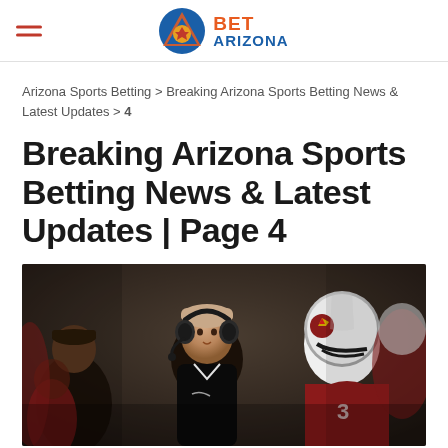BET ARIZONA
Arizona Sports Betting > Breaking Arizona Sports Betting News & Latest Updates > 4
Breaking Arizona Sports Betting News & Latest Updates | Page 4
[Figure (photo): NFL Arizona Cardinals sideline photo showing a head coach wearing headset surrounded by players in Cardinals red and white uniforms and helmets]